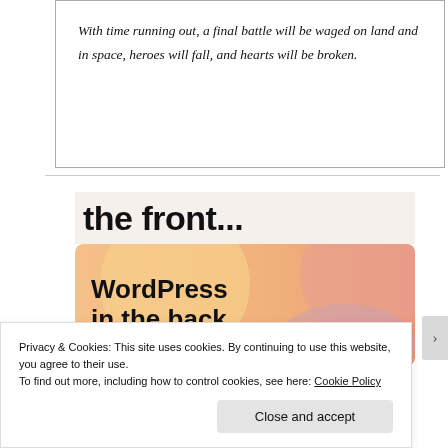With time running out, a final battle will be waged on land and in space, heroes will fall, and hearts will be broken.
[Figure (screenshot): Partial view of a WordPress advertisement banner showing 'the front...' text at top and 'WordPress in the back.' text on an orange/pink gradient background]
Privacy & Cookies: This site uses cookies. By continuing to use this website, you agree to their use.
To find out more, including how to control cookies, see here: Cookie Policy
Close and accept